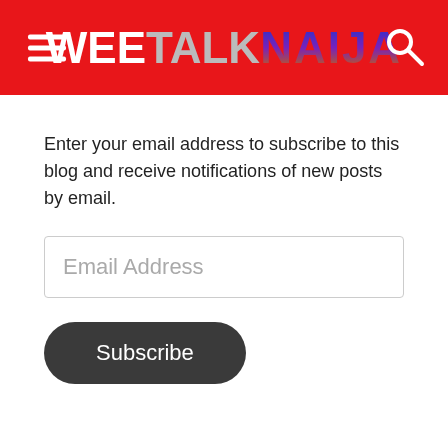WeeTalk Naija
Enter your email address to subscribe to this blog and receive notifications of new posts by email.
Email Address
Subscribe